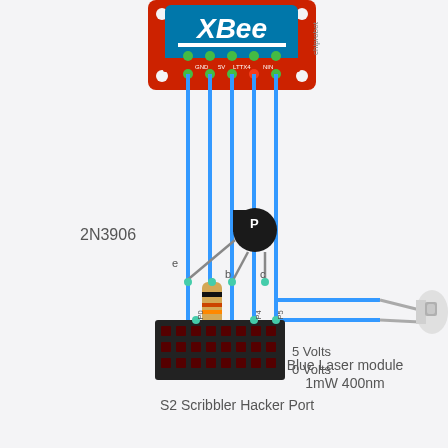[Figure (schematic): Circuit schematic showing an XBee module connected via blue wires to a 2N3906 PNP transistor, a resistor, and a Blue Laser module (1mW 400nm), all connected to an S2 Scribbler Hacker Port. Labels indicate e, b, c transistor pins, P0, P4, P5 port pins, 5 Volts, 0 Volts rails, and chiprobot watermark.]